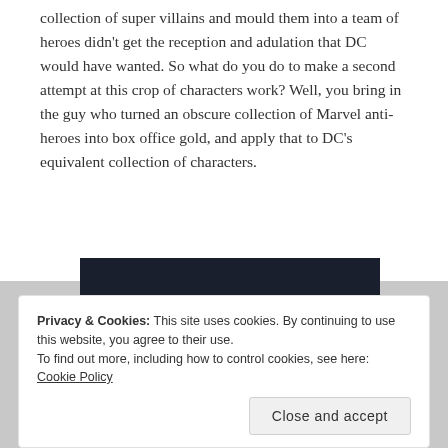collection of super villains and mould them into a team of heroes didn't get the reception and adulation that DC would have wanted. So what do you do to make a second attempt at this crop of characters work? Well, you bring in the guy who turned an obscure collection of Marvel anti-heroes into box office gold, and apply that to DC's equivalent collection of characters.
[Figure (screenshot): Dark banner advertisement with a teal 'Learn More' button]
Privacy & Cookies: This site uses cookies. By continuing to use this website, you agree to their use.
To find out more, including how to control cookies, see here: Cookie Policy